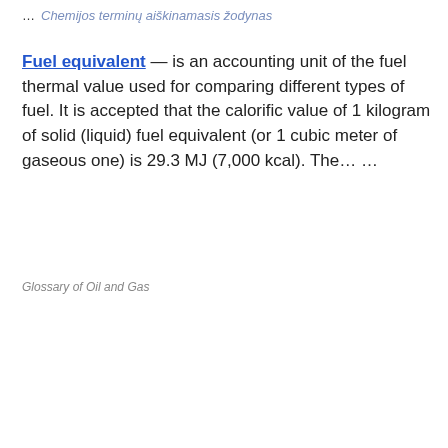… Chemijos terminų aiškinamasis žodynas
Fuel equivalent — is an accounting unit of the fuel thermal value used for comparing different types of fuel. It is accepted that the calorific value of 1 kilogram of solid (liquid) fuel equivalent (or 1 cubic meter of gaseous one) is 29.3 MJ (7,000 kcal). The… …
Glossary of Oil and Gas